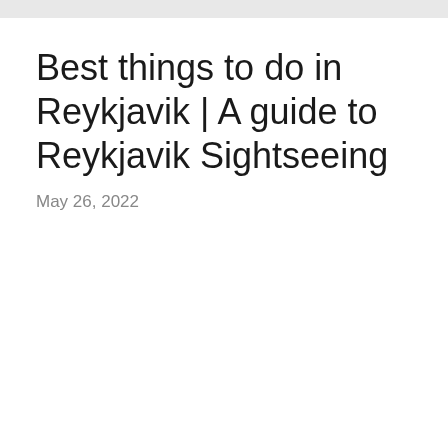Best things to do in Reykjavik | A guide to Reykjavik Sightseeing
May 26, 2022